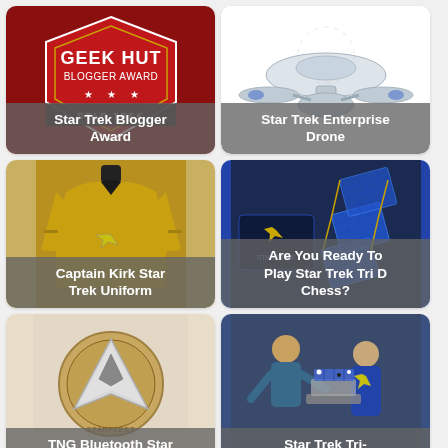[Figure (photo): Geek Hut Blogger Award badge on red background with Star Trek banner]
Star Trek Blogger Award
[Figure (photo): Star Trek Enterprise drone model on white background]
Star Trek Enterprise Drone
[Figure (photo): Captain Kirk Star Trek gold uniform shirt on mannequin]
Captain Kirk Star Trek Uniform
[Figure (photo): Star Trek Tri D Chess set with multiple levels and pieces]
Are You Ready To Play Star Trek Tri D Chess?
[Figure (photo): TNG Bluetooth Communicator badge on light background]
TNG Bluetooth Star
[Figure (photo): Star Trek TV scene with Kirk and Spock playing tri-dimensional chess]
Star Trek Tri-